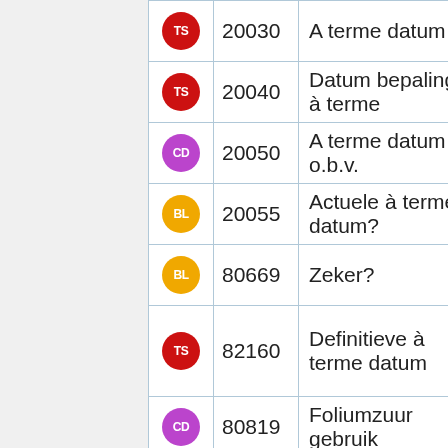| Icon | Code | Name |
| --- | --- | --- |
| TS | 20030 | A terme datum |
| TS | 20040 | Datum bepaling à terme |
| CD | 20050 | A terme datum o.b.v. |
| BL | 20055 | Actuele à terme datum? |
| BL | 80669 | Zeker? |
| TS | 82160 | Definitieve à terme datum |
| CD | 80819 | Foliumzuur gebruik |
| INT | 20020 | Hoeveelling |